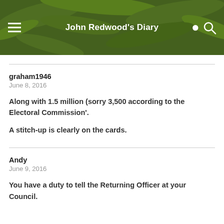John Redwood's Diary
graham1946
June 8, 2016
Along with 1.5 million (sorry 3,500 according to the Electoral Commission'.
A stitch-up is clearly on the cards.
Andy
June 9, 2016
You have a duty to tell the Returning Officer at your Council.